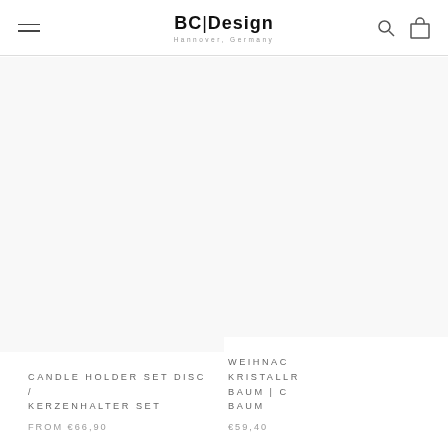BC|Design — Hanover, Germany
[Figure (photo): Product image area for Candle Holder Set Disc / Kerzenhalter Set (white/empty product image)]
CANDLE HOLDER SET DISC / KERZENHALTER SET
FROM €66,90
[Figure (photo): Partially visible product image area for Weihnachts Kristallr Baum / C Baum product]
WEIHNAC KRISTALLR BAUM | C BAUM
€59,40